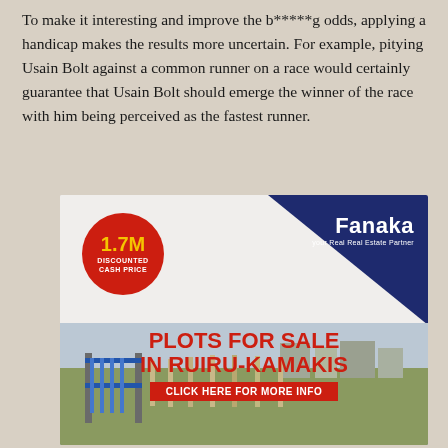To make it interesting and improve the b*****g odds, applying a handicap makes the results more uncertain. For example, pitying Usain Bolt against a common runner on a race would certainly guarantee that Usain Bolt should emerge the winner of the race with him being perceived as the fastest runner.
[Figure (infographic): Fanaka real estate advertisement. Red circle badge with '1.7M DISCOUNTED CASH PRICE' in yellow/white text. Navy blue triangle in top-right corner with 'Fanaka' logo in white. Bold red text: 'PLOTS FOR SALE IN RUIRU-KAMAKIS'. Red button: 'CLICK HERE FOR MORE INFO'. Bottom shows a photo of a gated land plot with fence posts and buildings in the background.]